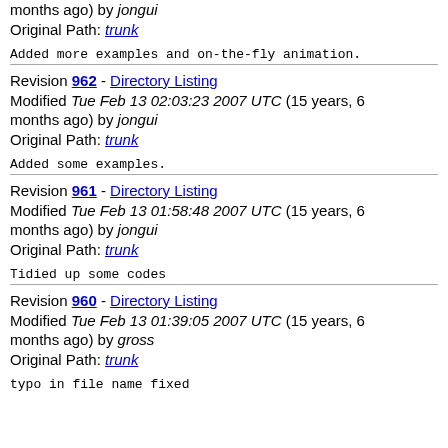months ago) by jongui
Original Path: trunk
Added more examples and on-the-fly animation.
Revision 962 - Directory Listing
Modified Tue Feb 13 02:03:23 2007 UTC (15 years, 6 months ago) by jongui
Original Path: trunk
Added some examples.
Revision 961 - Directory Listing
Modified Tue Feb 13 01:58:48 2007 UTC (15 years, 6 months ago) by jongui
Original Path: trunk
Tidied up some codes
Revision 960 - Directory Listing
Modified Tue Feb 13 01:39:05 2007 UTC (15 years, 6 months ago) by gross
Original Path: trunk
typo in file name fixed